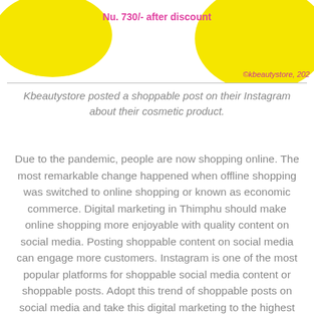[Figure (illustration): Top portion showing yellow blob shapes on left and right with pink price text 'Nu. 730/- after discount' in the center and copyright '©kbeautystore, 202' at bottom right]
Kbeautystore posted a shoppable post on their Instagram about their cosmetic product.
Due to the pandemic, people are now shopping online. The most remarkable change happened when offline shopping was switched to online shopping or known as economic commerce. Digital marketing in Thimphu should make online shopping more enjoyable with quality content on social media. Posting shoppable content on social media can engage more customers. Instagram is one of the most popular platforms for shoppable social media content or shoppable posts. Adopt this trend of shoppable posts on social media and take this digital marketing to the highest level in 2021.